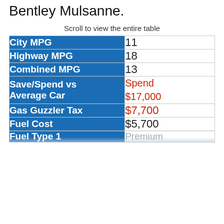Bentley Mulsanne.
Scroll to view the entire table
|  |  |
| --- | --- |
| City MPG | 11 |
| Highway MPG | 18 |
| Combined MPG | 13 |
| Save/Spend vs Average Car | Spend $17,000 |
| Gas Guzzler Tax | $7,700 |
| Fuel Cost | $5,700 |
| Fuel Type 1 | Premium |